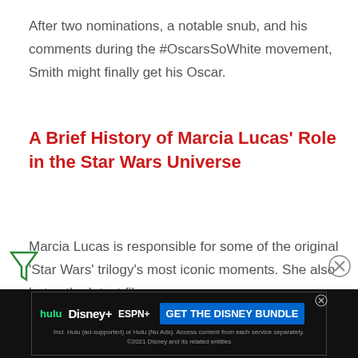After two nominations, a notable snub, and his comments during the #OscarsSoWhite movement, Smith might finally get his Oscar.
A Brief History of Marcia Lucas' Role in the Star Wars Universe
Marcia Lucas is responsible for some of the original 'Star Wars' trilogy's most iconic moments. She also hates the latest films.
A Brief History of Leonardo DiCaprio's Environmental Activism
The actor's concern for the planet in 'Don't Look Up' is also found in his real-life activism.
[Figure (screenshot): Disney/Hulu/ESPN+ advertisement banner with 'GET THE DISNEY BUNDLE' button and small print about 2021 Disney and related entities]